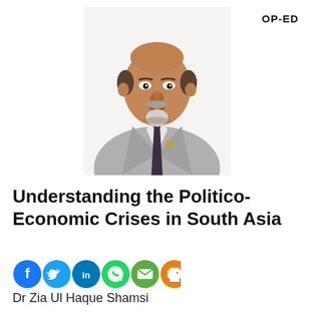OP-ED
[Figure (photo): Portrait photo of Dr Zia Ul Haque Shamsi, a middle-aged man with a grey goatee, wearing a grey suit jacket, white shirt, and dark tie, against a white background.]
Understanding the Politico-Economic Crises in South Asia
[Figure (infographic): Row of social media sharing icons: Facebook (blue circle with f), Twitter (blue circle with bird), LinkedIn (blue circle with in), WhatsApp (green circle with phone), Email (green circle with envelope), Print (orange circle with printer).]
Dr Zia Ul Haque Shamsi